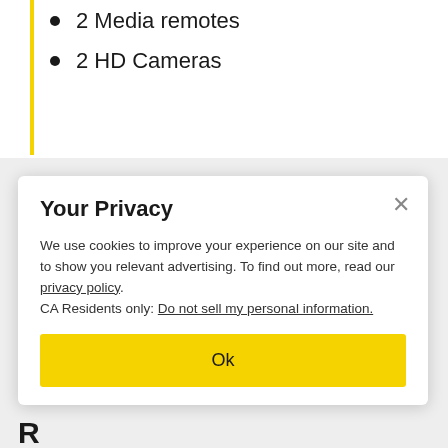2 Media remotes
2 HD Cameras
Your Privacy
We use cookies to improve your experience on our site and to show you relevant advertising. To find out more, read our privacy policy.
CA Residents only: Do not sell my personal information.
Ok